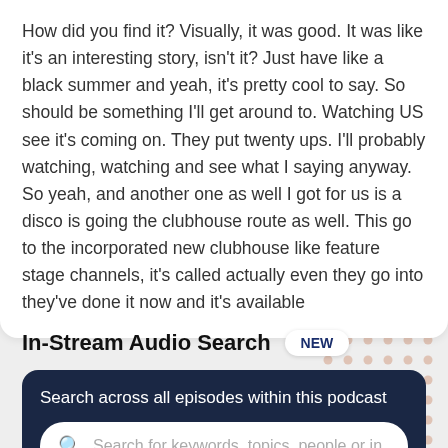How did you find it? Visually, it was good. It was like it's an interesting story, isn't it? Just have like a black summer and yeah, it's pretty cool to say. So should be something I'll get around to. Watching US see it's coming on. They put twenty ups. I'll probably watching, watching and see what I saying anyway. So yeah, and another one as well I got for us is a disco is going the clubhouse route as well. This go to the incorporated new clubhouse like feature stage channels, it's called actually even they go into they've done it now and it's available
In-Stream Audio Search
Search across all episodes within this podcast
Search for keywords, topics, people or in